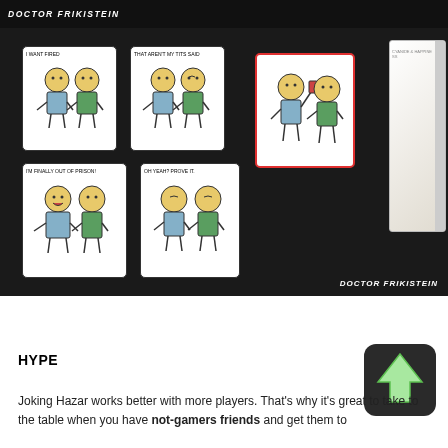[Figure (photo): Top strip of dark photo showing 'DOCTOR FRIKISTEIN' watermark in white bold italic text on black background]
[Figure (photo): Photo of card game spread on black table surface. Five illustrated cards visible with cartoon characters and speech bubbles. A white game box is partially visible on the right side. Watermark 'DOCTOR FRIKISTEIN' in bottom right corner.]
HYPE
Joking Hazar works better with more players. That's why it's great to take to the table when you have not-gamers friends and get them to